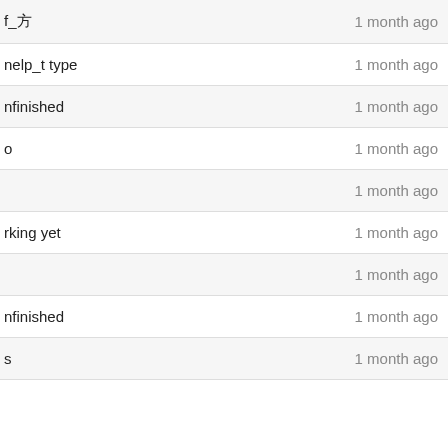| name | date |
| --- | --- |
| f_方 | 1 month ago |
| nelp_t type | 1 month ago |
| nfinished | 1 month ago |
| o | 1 month ago |
|  | 1 month ago |
| rking yet | 1 month ago |
|  | 1 month ago |
| nfinished | 1 month ago |
| s | 1 month ago |